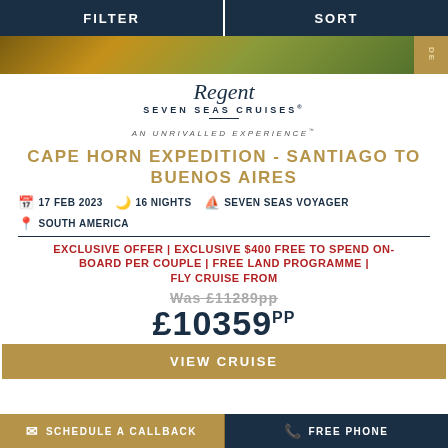FILTER   SORT
[Figure (photo): Scenic landscape photo strip with golden/green tones]
Regent Seven Seas Cruises - An Unrivalled Experience
CAPE HORN EXPEDITION - SANTIAGO TO BUENOS AIRES
17 FEB 2023  |  16 NIGHTS  |  SEVEN SEAS VOYAGER  |  SOUTH AMERICA
EXCLUSIVE OFFER | EXCLUSIVE $400 FREE TO SPEND ON-BOARD PER COUPLE | FREE LAND PROGRAMME | FLY CRUISE FROM
WAS £11289PP
£10359PP
VIEW CRUISE
SCHEDULE A CALLBACK   FREE PHONE